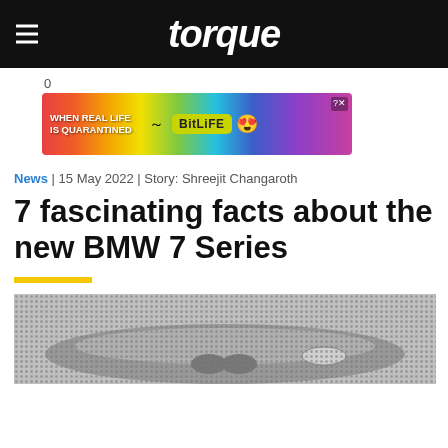torque
[Figure (other): Advertisement banner: BitLife game ad with rainbow background, text 'WHEN REAL LIFE IS QUARANTINED' and BitLife logo with emoji]
News | 15 May 2022 | Story: Shreejit Changaroth
7 fascinating facts about the new BMW 7 Series
[Figure (photo): Black and white halftone photo of the new BMW 7 Series car]